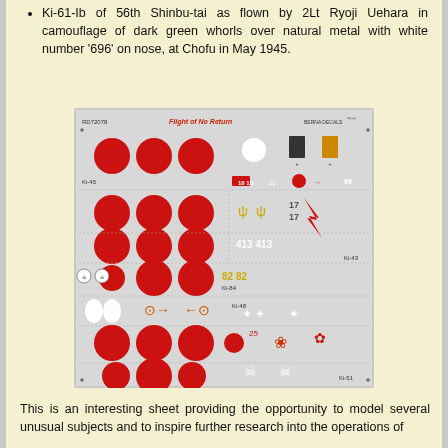Ki-61-Ib of 56th Shinbu-tai as flown by 2Lt Ryoji Uehara in camouflage of dark green whorls over natural metal with white number '696' on nose, at Chofu in May 1945.
[Figure (photo): A scanned model decal sheet labeled 'Flight of No Return' (RD72078) by Berna Decals, featuring multiple rows of red roundels (hinomaru) of various sizes for Japanese WWII aircraft, along with aircraft-specific markings for Ki-45, Ki-43, Ki-84, Ki-48, Ki-51, and Ki-61 variants. The sheet includes numbers, symbols, and unit markings in red, yellow, and white.]
This is an interesting sheet providing the opportunity to model several unusual subjects and to inspire further research into the operations of